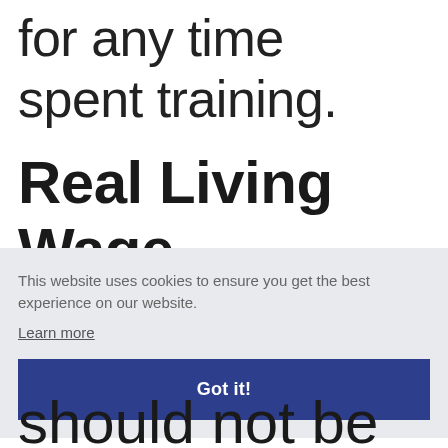for any time spent training.
Real Living Wage
This website uses cookies to ensure you get the best experience on our website.
Learn more
Got it!
should not be